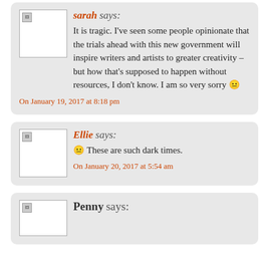sarah says:
It is tragic. I've seen some people opinionate that the trials ahead with this new government will inspire writers and artists to greater creativity – but how that's supposed to happen without resources, I don't know. I am so very sorry 😐
On January 19, 2017 at 8:18 pm
Ellie says:
😐 These are such dark times.
On January 20, 2017 at 5:54 am
Penny says: